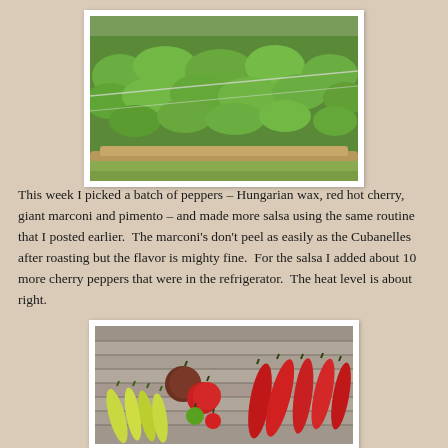[Figure (photo): Garden bed with dense green leafy plants growing inside a wooden-border raised bed with a wire or string running diagonally across it.]
This week I picked a batch of peppers – Hungarian wax, red hot cherry, giant marconi and pimento – and made more salsa using the same routine that I posted earlier.  The marconi's don't peel as easily as the Cubanelles after roasting but the flavor is mighty fine.  For the salsa I added about 10 more cherry peppers that were in the refrigerator.  The heat level is about right.
[Figure (photo): Assorted peppers arranged on a gray wooden surface: yellow-green Hungarian wax peppers on the left, red cherry and round peppers in the middle, and large red marconi peppers on the right.]